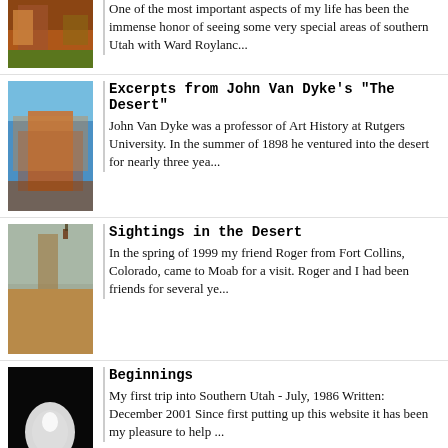One of the most important aspects of my life has been the immense honor of seeing some very special areas of southern Utah with Ward Roylanc...
Excerpts from John Van Dyke's "The Desert"
John Van Dyke was a professor of Art History at Rutgers University. In the summer of 1898 he ventured into the desert for nearly three yea...
Sightings in the Desert
In the spring of 1999 my friend Roger from Fort Collins, Colorado, came to Moab for a visit.  Roger and I had been friends for several ye...
Beginnings
My first trip into Southern Utah - July, 1986 Written: December 2001 Since first putting up this website it has been my pleasure to help ...
Steve the Cat
[Figure (photo): Reflective chrome sphere or cat-related photo]